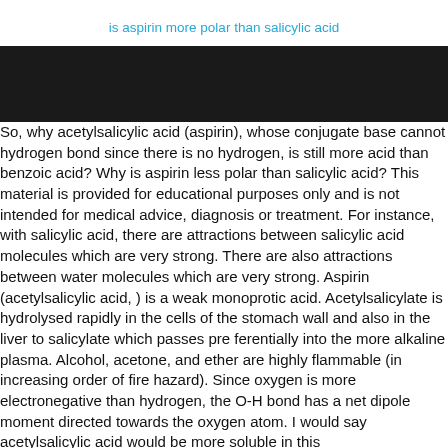is aspirin more polar than salicylic acid
[Figure (other): Black rectangular banner/bar spanning the full width of the page]
So, why acetylsalicylic acid (aspirin), whose conjugate base cannot hydrogen bond since there is no hydrogen, is still more acid than benzoic acid? Why is aspirin less polar than salicylic acid? This material is provided for educational purposes only and is not intended for medical advice, diagnosis or treatment. For instance, with salicylic acid, there are attractions between salicylic acid molecules which are very strong. There are also attractions between water molecules which are very strong. Aspirin (acetylsalicylic acid, ) is a weak monoprotic acid. Acetylsalicylate is hydrolysed rapidly in the cells of the stomach wall and also in the liver to salicylate which passes pre ferentially into the more alkaline plasma. Alcohol, acetone, and ether are highly flammable (in increasing order of fire hazard). Since oxygen is more electronegative than hydrogen, the O-H bond has a net dipole moment directed towards the oxygen atom. I would say acetylsalicylic acid would be more soluble in this